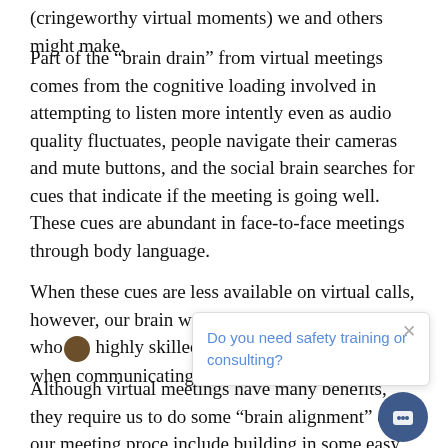(cringeworthy virtual moments) we and others might make.
Part of the “brain drain” from virtual meetings comes from the cognitive loading involved in attempting to listen more intently even as audio quality fluctuates, people navigate their cameras and mute buttons, and the social brain searches for cues that indicate if the meeting is going well. These cues are abundant in face-to-face meetings through body language.
When these cues are less available on virtual calls, however, our brain works twice as hard. People who [avatar] highly skilled at “reading a room” will no [truncated] when communicating virtu[ally, their ability] becomes limited.
[Figure (screenshot): Chat popup overlay asking 'Do you need safety training or consulting?' with a close (x) button and a chat avatar icon in the bottom right corner.]
Although virtual meetings have many benefits, they require us to do some “brain alignment” of our meeting proce[sses to] include building in some easy actions that will enhan[ce our] well-being, keep us alert and energized, and confirm